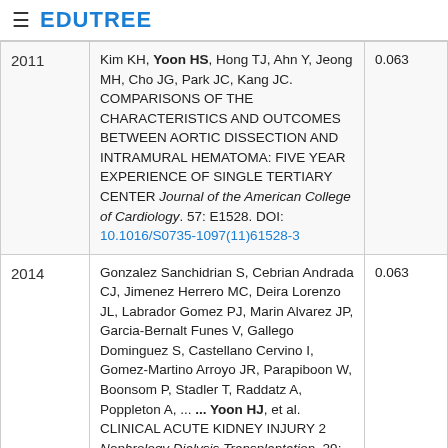≡ EDUTREE
| Year | Reference | Score |
| --- | --- | --- |
| 2011 | Kim KH, Yoon HS, Hong TJ, Ahn Y, Jeong MH, Cho JG, Park JC, Kang JC. COMPARISONS OF THE CHARACTERISTICS AND OUTCOMES BETWEEN AORTIC DISSECTION AND INTRAMURAL HEMATOMA: FIVE YEAR EXPERIENCE OF SINGLE TERTIARY CENTER Journal of the American College of Cardiology. 57: E1528. DOI: 10.1016/S0735-1097(11)61528-3 | 0.063 |
| 2014 | Gonzalez Sanchidrian S, Cebrian Andrada CJ, Jimenez Herrero MC, Deira Lorenzo JL, Labrador Gomez PJ, Marin Alvarez JP, Garcia-Bernalt Funes V, Gallego Dominguez S, Castellano Cervino I, Gomez-Martino Arroyo JR, Parapiboon W, Boonsom P, Stadler T, Raddatz A, Poppleton A, ... ... Yoon HJ, et al. CLINICAL ACUTE KIDNEY INJURY 2 Nephrology Dialysis Transplantation. 29: iii356-iii368. DOI: 10.1093/Ndt/Gfu164 | 0.063 |